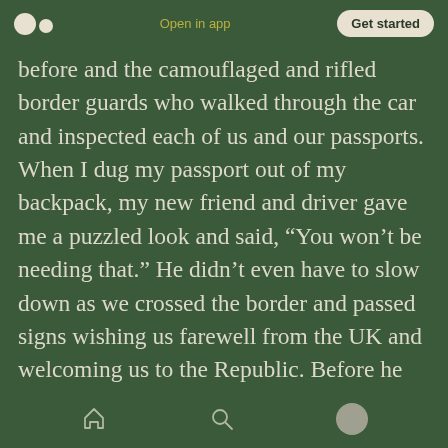Open in app | Get started
before and the camouflaged and rifled border guards who walked through the car and inspected each of us and our passports. When I dug my passport out of my backpack, my new friend and driver gave me a puzzled look and said, “You won’t be needing that.” He didn’t even have to slow down as we crossed the border and passed signs wishing us farewell from the UK and welcoming us to the Republic. Before he left me at the manor hotel that hosted wedding guests, he told me he’d be back on Sunday at 2:00pm to get me back to Derry for my flight to London. My
home | search | profile